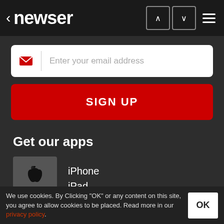< newser
[Figure (screenshot): Email input field with red envelope icon and placeholder text 'Enter your email address']
[Figure (screenshot): Red SIGN UP button]
Get our apps
iPhone iPad
Android
Windows
We use cookies. By Clicking "OK" or any content on this site, you agree to allow cookies to be placed. Read more in our privacy policy.